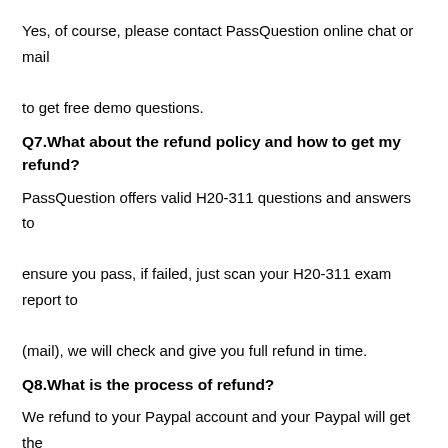Yes, of course, please contact PassQuestion online chat or mail to get free demo questions.
Q7.What about the refund policy and how to get my refund?
PassQuestion offers valid H20-311 questions and answers to ensure you pass, if failed, just scan your H20-311 exam report to (mail), we will check and give you full refund in time.
Q8.What is the process of refund?
We refund to your Paypal account and your Paypal will get the refund immediately. If you pay with your credit card then your Paypal will credit the payment to your credit card in 7 working days.